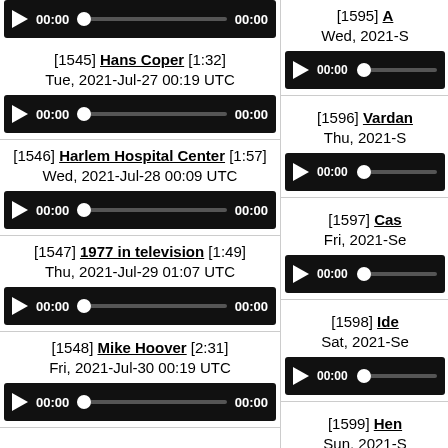[1545] Hans Coper [1:32] Tue, 2021-Jul-27 00:19 UTC
[1546] Harlem Hospital Center [1:57] Wed, 2021-Jul-28 00:09 UTC
[1547] 1977 in television [1:49] Thu, 2021-Jul-29 01:07 UTC
[1548] Mike Hoover [2:31] Fri, 2021-Jul-30 00:19 UTC
[1595] A... Wed, 2021-S...
[1596] Vardan... Thu, 2021-S...
[1597] Cas... Fri, 2021-Se...
[1598] Ide... Sat, 2021-Se...
[1599] Hen... Sun, 2021-S...